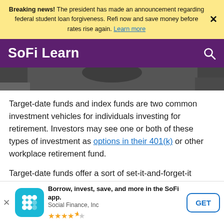Breaking news! The president has made an announcement regarding federal student loan forgiveness. Refi now and save money before rates rise again. Learn more
SoFi Learn
[Figure (photo): Dark hero image showing a person in dark clothing, partially visible from the top portion of a content page.]
Target-date funds and index funds are two common investment vehicles for individuals investing for retirement. Investors may see one or both of these types of investment as options in their 401(k) or other workplace retirement fund.
Target-date funds offer a sort of set-it-and-forget-it approach to investing typically tied to an investor's timeline. while index funds include a basket of investments
Borrow, invest, save, and more in the SoFi app. Social Finance, Inc ★★★★½